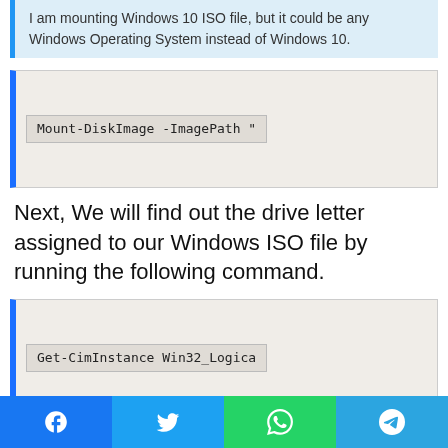I am mounting Windows 10 ISO file, but it could be any Windows Operating System instead of Windows 10.
[Figure (screenshot): Code block showing: Mount-DiskImage -ImagePath "]
Next, We will find out the drive letter assigned to our Windows ISO file by running the following command.
[Figure (screenshot): Code block showing: Get-CimInstance Win32_Logica]
Facebook | Twitter | WhatsApp | Telegram